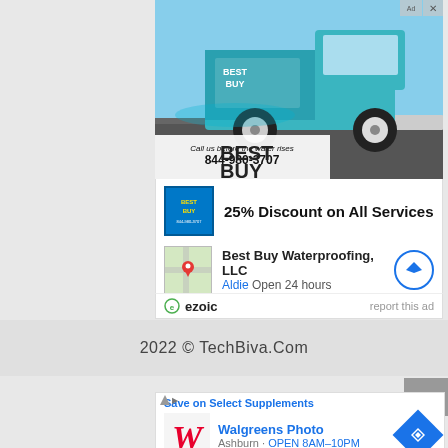[Figure (photo): Advertisement for Best Buy Waterproofing showing a teal/aqua wrapped pickup truck with company branding and phone number 844-980-3707. Text on image reads 'Call us before the water rises 844-980-3707 BEST BUY']
25% Discount on All Services
Best Buy Waterproofing, LLC
Aldie Open 24 hours
ezoic   report this ad
2022 © TechBiva.Com
[Figure (screenshot): Walgreens advertisement showing 'Save on Select Supplements', 'Walgreens Photo', Ashburn OPEN 8AM-10PM with navigation button]